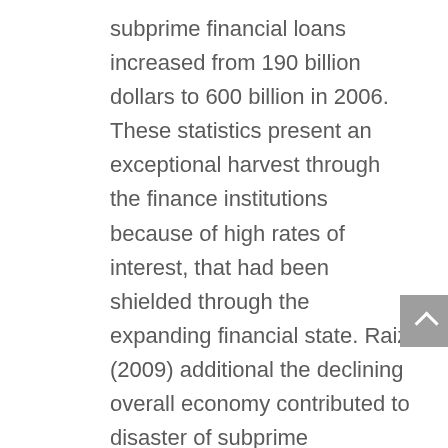subprime financial loans increased from 190 billion dollars to 600 billion in 2006. These statistics present an exceptional harvest through the finance institutions because of high rates of interest, that had been shielded through the expanding financial state. Raiz (2009) additional the declining overall economy contributed to disaster of subprime mortgages at the bigger speed in comparison to common house loans. That is obvious the fact that introduction on the present financial crisis experienced an tremendous result from the financial state as well as the financial institutions also.
A crisis does not come up when full details